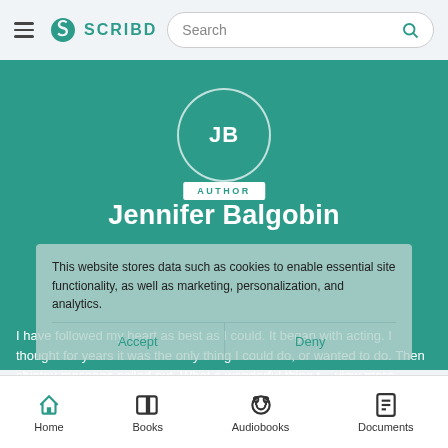SCRIBD — Search bar navigation
[Figure (screenshot): Scribd author profile page for Jennifer Balgobin showing teal background, avatar with initials JB, AUTHOR badge, author name, bio excerpt with cookie consent overlay, and bottom navigation bar with Home, Books, Audiobooks, Documents]
JB
AUTHOR
Jennifer Balgobin
This website stores data such as cookies to enable essential site functionality, as well as marketing, personalization, and analytics.
I have followed my heart as best as I could. It began with acting. I thought for years it was the only thing I could do, or wanted to do. Then shiatsu massage called out. What a wonderful thing t... view more
Home  Books  Audiobooks  Documents